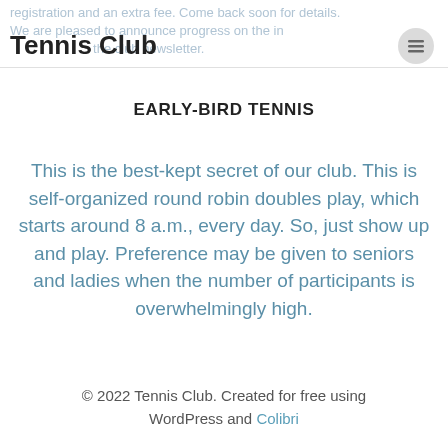Tennis Club
EARLY-BIRD TENNIS
This is the best-kept secret of our club. This is self-organized round robin doubles play, which starts around 8 a.m., every day. So, just show up and play. Preference may be given to seniors and ladies when the number of participants is overwhelmingly high.
© 2022 Tennis Club. Created for free using WordPress and Colibri